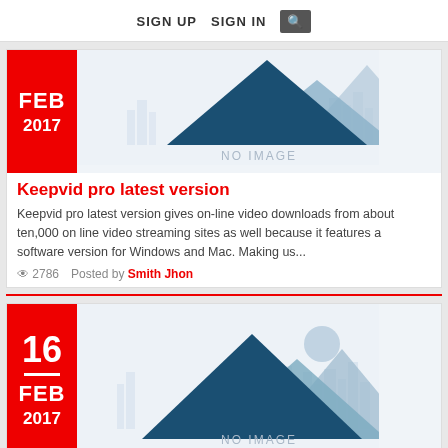SIGN UP  SIGN IN  [search]
[Figure (illustration): No image placeholder with mountain silhouettes and city skyline background, labeled NO IMAGE. Date badge: FEB 2017.]
Keepvid pro latest version
Keepvid pro latest version gives on-line video downloads from about ten,000 on line video streaming sites as well because it features a software version for Windows and Mac. Making us...
👁 2786   Posted by Smith Jhon
[Figure (illustration): No image placeholder with mountain silhouettes, city skyline, and sun, labeled NO IMAGE. Date badge: 16 FEB 2017.]